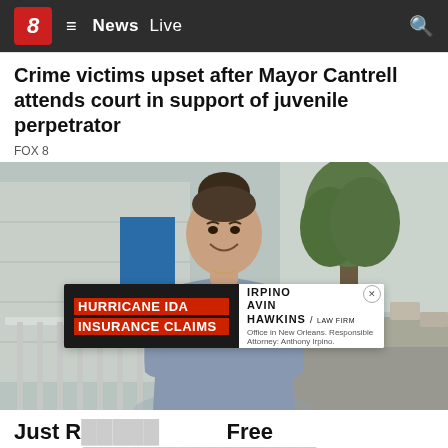8  ≡  News  Live  🔍
Crime victims upset after Mayor Cantrell attends court in support of juvenile perpetrator
FOX 8
[Figure (photo): A woman with dark hair in a bun, wearing a grey fitted top, smiling outdoors near a tree and building. An advertisement overlay at the bottom reads: HURRICANE IDA INSURANCE CLAIMS — IRPINO AVIN HAWKINS LAW FIRM]
Just R... Free
With A...